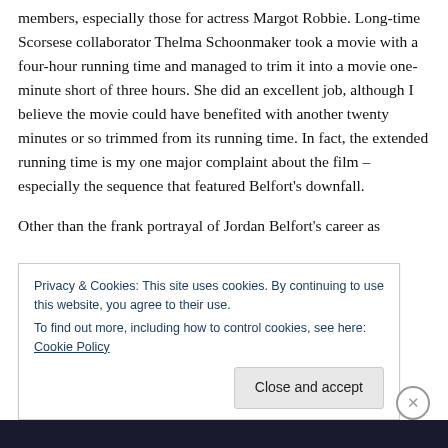members, especially those for actress Margot Robbie. Long-time Scorsese collaborator Thelma Schoonmaker took a movie with a four-hour running time and managed to trim it into a movie one-minute short of three hours. She did an excellent job, although I believe the movie could have benefited with another twenty minutes or so trimmed from its running time. In fact, the extended running time is my one major complaint about the film – especially the sequence that featured Belfort's downfall.
Other than the frank portrayal of Jordan Belfort's career as
Privacy & Cookies: This site uses cookies. By continuing to use this website, you agree to their use.
To find out more, including how to control cookies, see here: Cookie Policy